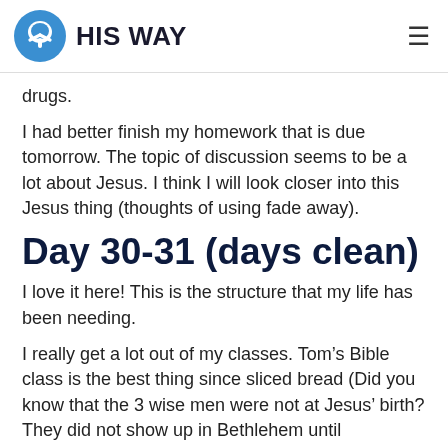HIS WAY
drugs.
I had better finish my homework that is due tomorrow. The topic of discussion seems to be a lot about Jesus. I think I will look closer into this Jesus thing (thoughts of using fade away).
Day 30-31 (days clean)
I love it here! This is the structure that my life has been needing.
I really get a lot out of my classes. Tom’s Bible class is the best thing since sliced bread (Did you know that the 3 wise men were not at Jesus’ birth? They did not show up in Bethlehem until